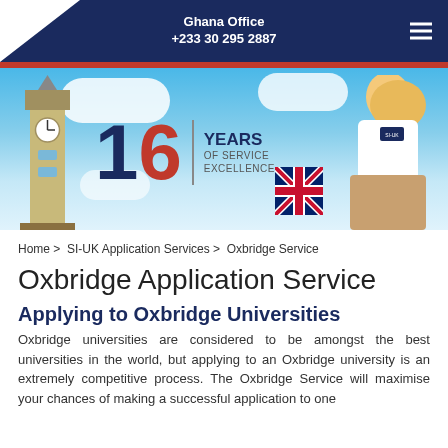Ghana Office
+233 30 295 2887
[Figure (photo): Banner image showing Big Ben tower, a young woman holding a UK flag, with text '16 YEARS OF SERVICE EXCELLENCE' on a blue sky background]
Home > SI-UK Application Services > Oxbridge Service
Oxbridge Application Service
Applying to Oxbridge Universities
Oxbridge universities are considered to be amongst the best universities in the world, but applying to an Oxbridge university is an extremely competitive process. The Oxbridge Service will maximise your chances of making a successful application to one